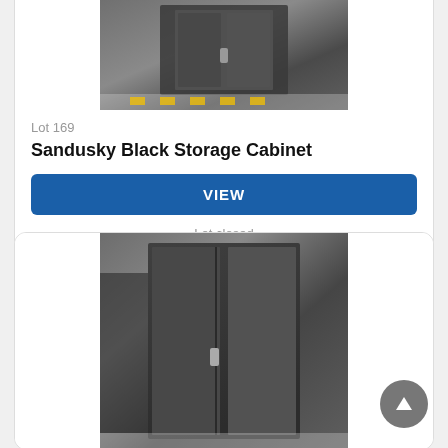[Figure (photo): Black metal storage cabinet in warehouse setting, partial top view]
Lot 169
Sandusky Black Storage Cabinet
VIEW
Lot closed
Lot location: Brockville, Ontario
[Figure (photo): Black metal storage cabinet, full height view in warehouse]